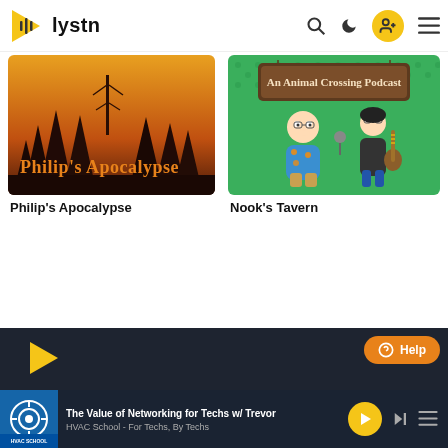lystn
[Figure (screenshot): Philip's Apocalypse podcast artwork - dark forest silhouette with orange sky]
Philip's Apocalypse
[Figure (screenshot): Nook's Tavern - An Animal Crossing Podcast artwork with cartoon characters on green background]
Nook's Tavern
[Figure (screenshot): Dark bottom section of podcast app with HVAC School player bar showing 'The Value of Networking for Techs w/ Trevor' and 'HVAC School - For Techs, By Techs']
The Value of Networking for Techs w/ Trevor
HVAC School - For Techs, By Techs